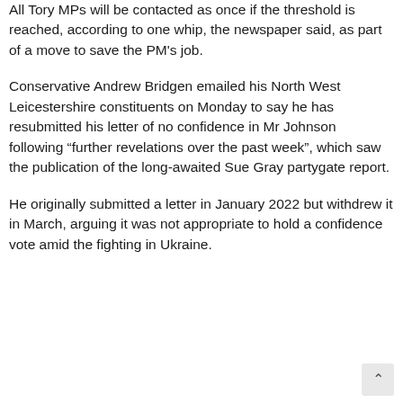All Tory MPs will be contacted as once if the threshold is reached, according to one whip, the newspaper said, as part of a move to save the PM's job.
Conservative Andrew Bridgen emailed his North West Leicestershire constituents on Monday to say he has resubmitted his letter of no confidence in Mr Johnson following “further revelations over the past week”, which saw the publication of the long-awaited Sue Gray partygate report.
He originally submitted a letter in January 2022 but withdrew it in March, arguing it was not appropriate to hold a confidence vote amid the fighting in Ukraine.